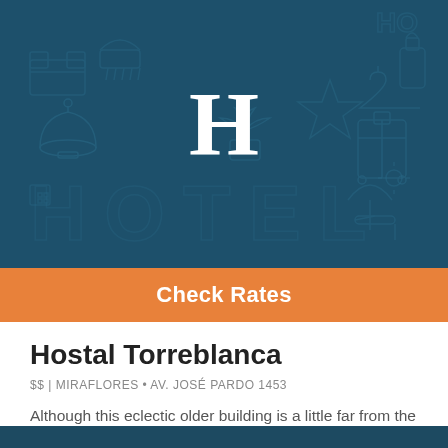[Figure (illustration): Hotel banner image with dark teal background featuring outline icons of hotel amenities (bell, bed, luggage, plants, umbrella, etc.) and a large white serif letter H in the center, with the word HOTEL faintly visible in the background]
Check Rates
Hostal Torreblanca
$$ | MIRAFLORES • AV. JOSÉ PARDO 1453
Although this eclectic older building is a little far from the center of Miraflores, it's just a block from a... Read More